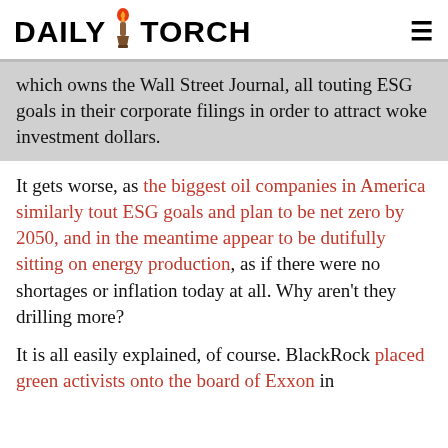DAILY TORCH
which owns the Wall Street Journal, all touting ESG goals in their corporate filings in order to attract woke investment dollars.
It gets worse, as the biggest oil companies in America similarly tout ESG goals and plan to be net zero by 2050, and in the meantime appear to be dutifully sitting on energy production, as if there were no shortages or inflation today at all. Why aren't they drilling more?
It is all easily explained, of course. BlackRock placed green activists onto the board of Exxon in